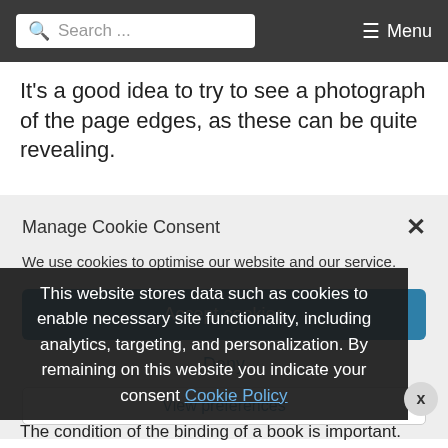Search ... Menu
It's a good idea to try to see a photograph of the page edges, as these can be quite revealing.
Manage Cookie Consent
We use cookies to optimise our website and our service.
Accept cookies
Deny
View preferences
This website stores data such as cookies to enable necessary site functionality, including analytics, targeting, and personalization. By remaining on this website you indicate your consent Cookie Policy
The condition of the binding of a book is important.